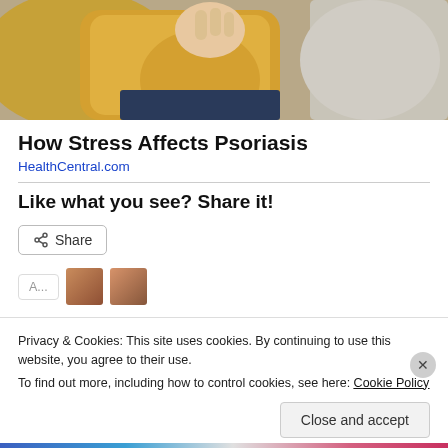[Figure (photo): Person in a yellow/mustard knit sweater sitting on a couch, viewed from the torso down, scratching or holding their hand/wrist area, with yellow and grey pillows visible in background]
How Stress Affects Psoriasis
HealthCentral.com
Like what you see? Share it!
Privacy & Cookies: This site uses cookies. By continuing to use this website, you agree to their use.
To find out more, including how to control cookies, see here: Cookie Policy